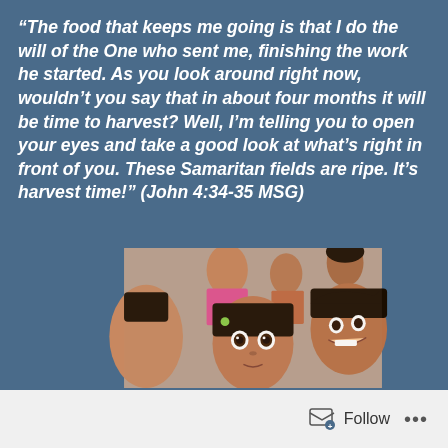“The food that keeps me going is that I do the will of the One who sent me, finishing the work he started. As you look around right now, wouldn’t you say that in about four months it will be time to harvest? Well, I’m telling you to open your eyes and take a good look at what’s right in front of you. These Samaritan fields are ripe. It’s harvest time!” (John 4:34-35 MSG)
[Figure (photo): Group of Indian children and a woman looking at the camera, close-up faces, smiling expressions]
Follow ...